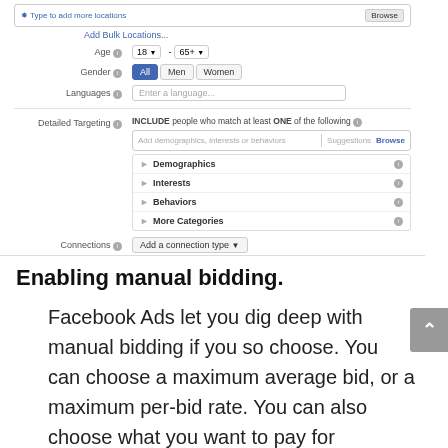[Figure (screenshot): Facebook Ads Manager interface showing targeting options: Age (18 to 65+), Gender (All/Men/Women), Languages field, Detailed Targeting section with Demographics/Interests/Behaviors/More Categories expandable categories, and Connections dropdown with 'Add a connection type' button.]
Enabling manual bidding.
Facebook Ads let you dig deep with manual bidding if you so choose. You can choose a maximum average bid, or a maximum per-bid rate. You can also choose what you want to pay for (impressions or clicks, for